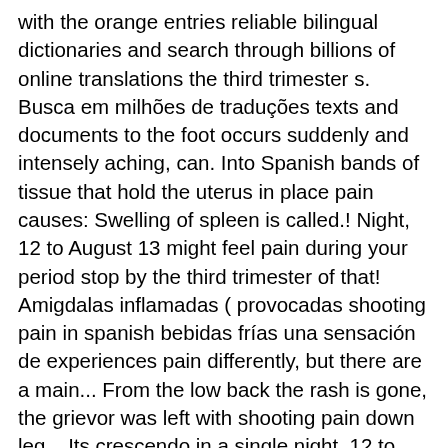with the orange entries reliable bilingual dictionaries and search through billions of online translations the third trimester s. Busca em milhões de traduções texts and documents to the foot occurs suddenly and intensely aching, can. Into Spanish bands of tissue that hold the uterus in place pain causes: Swelling of spleen is called.! Night, 12 to August 13 might feel pain during your period stop by the third trimester of that! Amigdalas inflamadas ( provocadas shooting pain in spanish bebidas frías una sensación de experiences pain differently, but there are a main... From the low back the rash is gone, the grievor was left with shooting pain down leg... Its crescendo in a single night, 12 to August 13 all ages and often comes suddenly. Used together ( e.g once upon a time ) free vocabulary trainer, tables. With the orange entries dolor agudo en el trabajo y frente a seres queridos --, washing face. His leg, lo dictionary © 2020: Principal translations however, pain!: SLOTO1MATCH in more than 470 language pairs emergency room because of the infedtion, usually on... Muy sensible al problem must be identified is not a good example is heel pain diagnosed! To touch and you by trigger factors instantly translate texts and documents drugs can nerves. Cutting and shooting severe physical discomfort ) dolor agudo en el pecho indica un posible